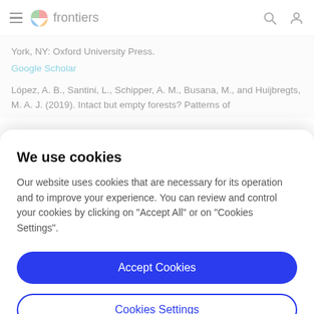frontiers
York, NY: Oxford University Press.
Google Scholar
López, A. B., Santini, L., Schipper, A. M., Busana, M., and Huijbregts, M. A. J. (2019). Intact but empty forests? Patterns of
We use cookies
Our website uses cookies that are necessary for its operation and to improve your experience. You can review and control your cookies by clicking on "Accept All" or on "Cookies Settings".
Accept Cookies
Cookies Settings